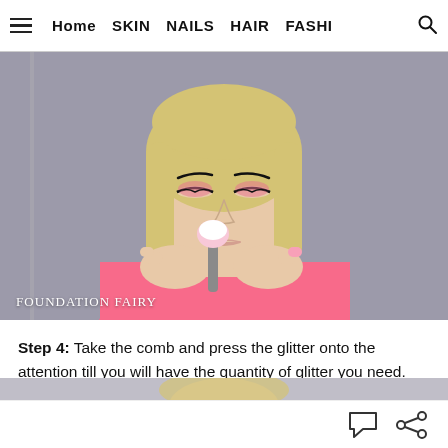Home   SKIN   NAILS   HAIR   FASHI
[Figure (photo): A blonde woman in a pink top holding a pink and white makeup brush near her chin, with pink eyeshadow and heavy eyeliner, looking downward. The watermark reads FOUNDATION FAIRY.]
Step 4: Take the comb and press the glitter onto the attention till you will have the quantity of glitter you need.
[Figure (photo): Partial view of another tutorial step showing a person from the chin up, cropped.]